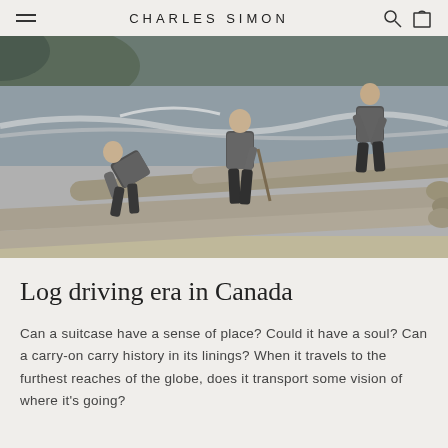CHARLES SIMON
[Figure (photo): Black and white historical photograph of three workers standing on logs during a log drive, with a river in the background. The men are wearing plaid shirts and working clothes, using poles to manage the logs.]
Log driving era in Canada
Can a suitcase have a sense of place? Could it have a soul? Can a carry-on carry history in its linings? When it travels to the furthest reaches of the globe, does it transport some vision of where it's going?